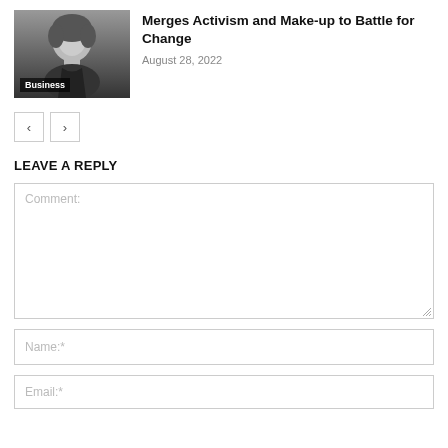[Figure (photo): Black and white photo of a woman with short curly hair wearing a dark outfit, with a 'Business' category label overlay at the bottom left.]
Merges Activism and Make-up to Battle for Change
August 28, 2022
LEAVE A REPLY
Comment:
Name:*
Email:*